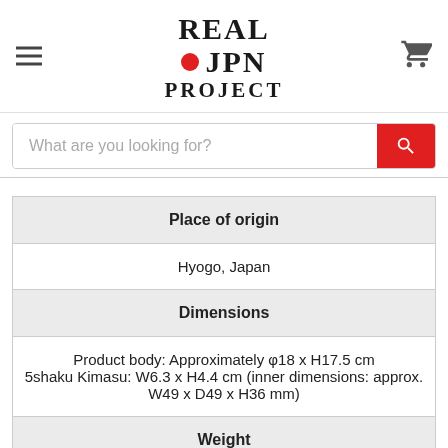REAL JPN PROJECT
What are you looking for?
| Place of origin |
| Hyogo, Japan |
| Dimensions |
| Product body: Approximately φ18 x H17.5 cm
5shaku Kimasu: W6.3 x H4.4 cm (inner dimensions: approx. W49 x D49 x H36 mm) |
| Weight |